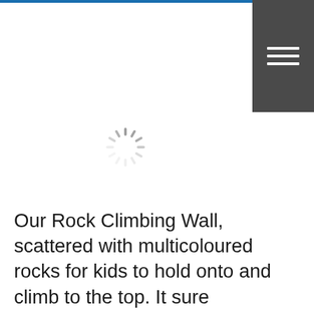[Figure (screenshot): Blue top navigation bar with a dark grey hamburger menu button in the top-right corner showing three white horizontal lines]
[Figure (other): A loading spinner (circular dashed spinner icon) centered in the page white space area]
Our Rock Climbing Wall, scattered with multicoloured rocks for kids to hold onto and climb to the top. It sure